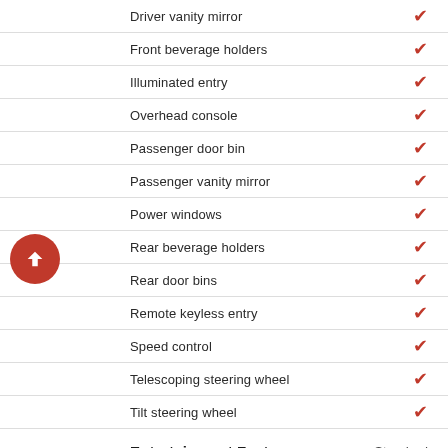Driver vanity mirror ✓
Front beverage holders ✓
Illuminated entry ✓
Overhead console ✓
Passenger door bin ✓
Passenger vanity mirror ✓
Power windows ✓
Rear beverage holders ✓
Rear door bins ✓
Remote keyless entry ✓
Speed control ✓
Telescoping steering wheel ✓
Tilt steering wheel ✓
Entertainment Features — Standard
CD player ✓
CD-MP3 decoder ✓
Steering wheel mounted audio controls ✓
Wireless phone connectivity - Bluetooth ✓